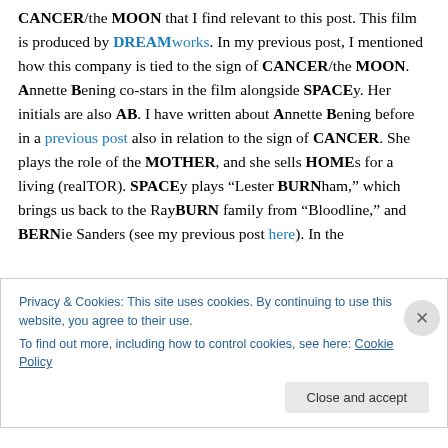CANCER/the MOON that I find relevant to this post. This film is produced by DREAMworks. In my previous post, I mentioned how this company is tied to the sign of CANCER/the MOON. Annette Bening co-stars in the film alongside SPACEy. Her initials are also AB. I have written about Annette Bening before in a previous post also in relation to the sign of CANCER. She plays the role of the MOTHER, and she sells HOMEs for a living (realTOR). SPACEy plays “Lester BURNham,” which brings us back to the RayBURN family from “Bloodline,” and BERNie Sanders (see my previous post here). In the
Privacy & Cookies: This site uses cookies. By continuing to use this website, you agree to their use.
To find out more, including how to control cookies, see here: Cookie Policy